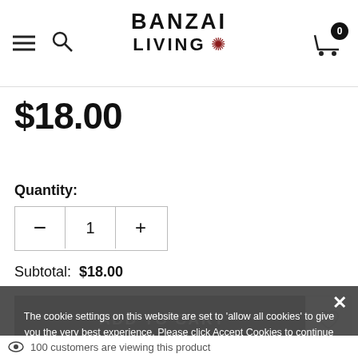BANZAI LIVING
$18.00
Quantity:
Subtotal: $18.00
ADD TO CART
The cookie settings on this website are set to 'allow all cookies' to give you the very best experience. Please click Accept Cookies to continue to use the site.
ACCEPT COOKIES
PRIVACY POLICY
100 customers are viewing this product